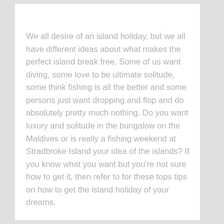We all desire of an island holiday, but we all have different ideas about what makes the perfect island break free. Some of us want diving, some love to be ultimate solitude, some think fishing is all the better and some persons just want dropping and flop and do absolutely pretty much nothing. Do you want luxury and solitude in the bungalow on the Maldives or is really a fishing weekend at Stradbroke Island your idea of the islands? If you know what you want but you're not sure how to get it, then refer to for these tops tips on how to get the island holiday of your dreams.
Take heed: if you'd like to visit the Maldives islands Maldives during peak season